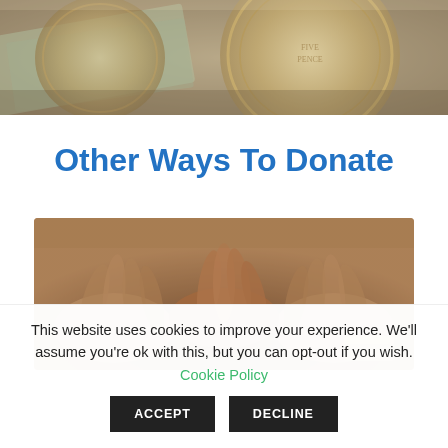[Figure (photo): Close-up photo of coins and banknotes, showing metallic coins and paper currency]
Other Ways To Donate
[Figure (photo): Photo of multiple pairs of hands stacked together in a gesture of unity or teamwork]
This website uses cookies to improve your experience. We'll assume you're ok with this, but you can opt-out if you wish. Cookie Policy
ACCEPT
DECLINE